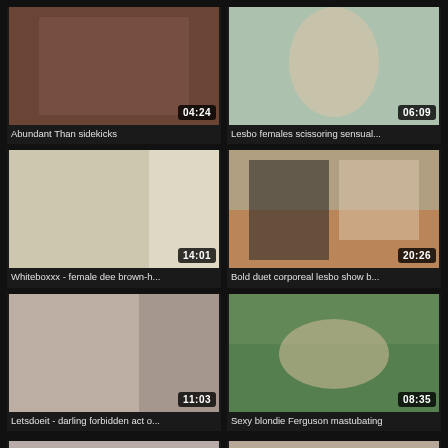[Figure (screenshot): Video thumbnail grid showing adult video thumbnails with durations and titles]
Abundant Than sidekicks
[Figure (screenshot): Video thumbnail - Lesbo females scissoring sensual...]
Lesbo females scissoring sensual...
[Figure (screenshot): Video thumbnail - Whiteboxxx - female dee brown-h...]
Whiteboxxx - female dee brown-h...
[Figure (screenshot): Video thumbnail - Bold duet corporeal lesbo show b...]
Bold duet corporeal lesbo show b...
[Figure (screenshot): Video thumbnail - Letsdoeit - darling forbidden act o...]
Letsdoeit - darling forbidden act o...
[Figure (screenshot): Video thumbnail - Sexy blondie Ferguson mastubating]
Sexy blondie Ferguson mastubating
[Figure (screenshot): Partial video thumbnail bottom left]
[Figure (screenshot): Partial video thumbnail bottom right]